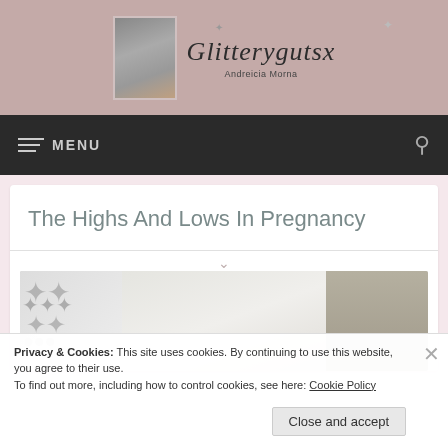[Figure (logo): Glitterygutsx blog logo with profile photo and site name in italic serif font, with subtitle 'Andreicia Morna']
MENU (navigation bar with hamburger icon and search icon)
The Highs And Lows In Pregnancy
[Figure (photo): Partial photo of hanging clothes including leopard print and other garments]
Privacy & Cookies: This site uses cookies. By continuing to use this website, you agree to their use.
To find out more, including how to control cookies, see here: Cookie Policy
Close and accept